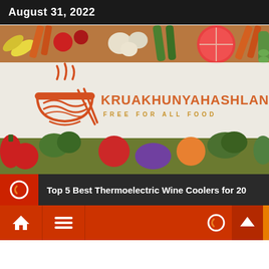August 31, 2022
[Figure (illustration): Hero banner image for food blog 'Kruakhunyahashland - Free For All Food' showing a bowl logo with steam on the left and brand name on the right, set against a background of colorful fruits and vegetables arranged around a white center surface]
Top 5 Best Thermoelectric Wine Coolers for 20
[Figure (screenshot): Website navigation bar with home icon, hamburger menu icon, and up/arrow button on orange/red background]